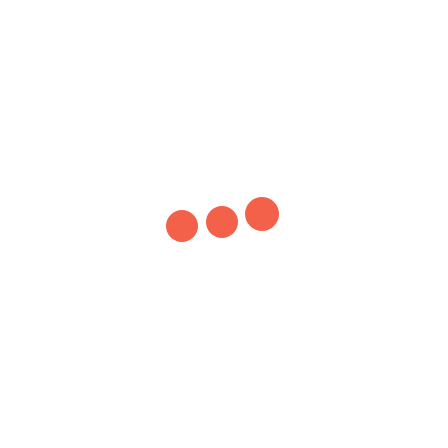[Figure (other): Three salmon/coral-orange filled circles arranged in a slightly diagonal row, increasing slightly in size and position from left to right, centered on a white background. The circles appear as a loading indicator or ellipsis icon.]